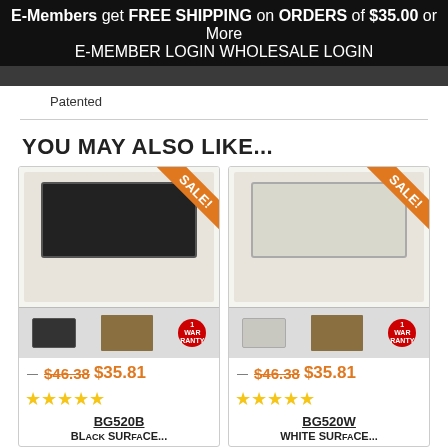E-Members get FREE SHIPPING on ORDERS of $35.00 or More
E-MEMBER LOGIN   WHOLESALE LOGIN
Patented
YOU MAY ALSO LIKE...
[Figure (photo): Product card for BG520B with SALE badge, dark porch light on package, price $46.38 strikethrough $35.81, five stars, product ID BG520B]
[Figure (photo): Product card for BG520W with SALE badge, white porch light on package, price $46.38 strikethrough $35.81, five stars, product ID BG520W]